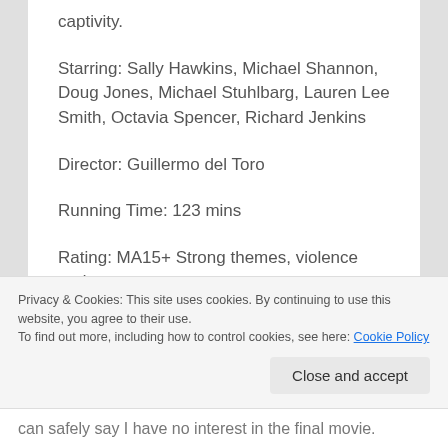captivity.
Starring: Sally Hawkins, Michael Shannon, Doug Jones, Michael Stuhlbarg, Lauren Lee Smith, Octavia Spencer, Richard Jenkins
Director: Guillermo del Toro
Running Time: 123 mins
Rating: MA15+ Strong themes, violence and a sex scene
Privacy & Cookies: This site uses cookies. By continuing to use this website, you agree to their use.
To find out more, including how to control cookies, see here: Cookie Policy
Close and accept
can safely say I have no interest in the final movie.